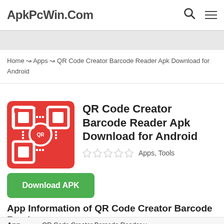ApkPcWin.Com
Home ↝ Apps ↝ QR Code Creator Barcode Reader Apk Download for Android
QR Code Creator Barcode Reader Apk Download for Android
Apps, Tools
Download APK
App Information of QR Code Creator Barcode Reader
| App |  |
| --- | --- |
| App | QR Code Creator Barcode Reader v |